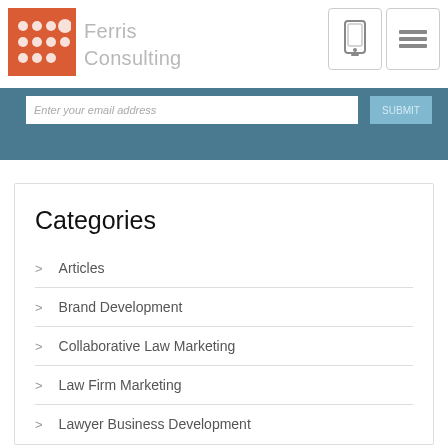Ferris Consulting
Articles
Brand Development
Collaborative Law Marketing
Law Firm Marketing
Lawyer Business Development